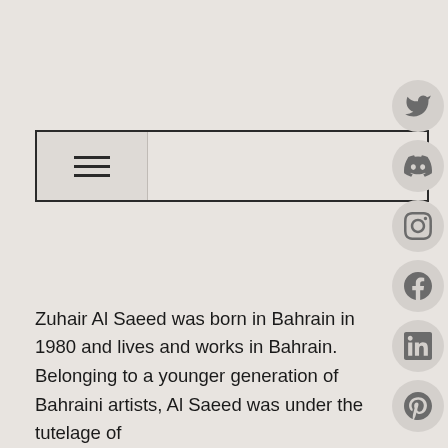[Figure (screenshot): Navigation bar with hamburger menu icon on the left side, bordered rectangle]
[Figure (infographic): Vertical stack of social media icons: Twitter, Discord, Instagram, Facebook, LinkedIn, Pinterest — circular gray buttons on the right side]
Zuhair Al Saeed was born in Bahrain in 1980 and lives and works in Bahrain. Belonging to a younger generation of Bahraini artists, Al Saeed was under the tutelage of